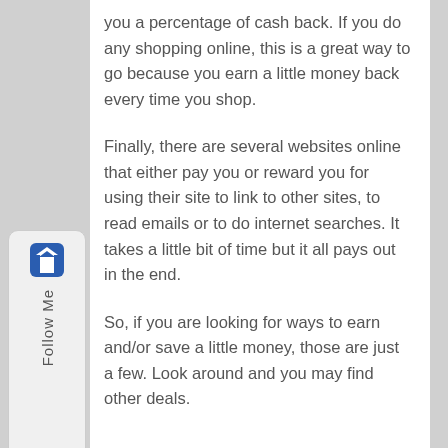you a percentage of cash back. If you do any shopping online, this is a great way to go because you earn a little money back every time you shop.
Finally, there are several websites online that either pay you or reward you for using their site to link to other sites, to read emails or to do internet searches. It takes a little bit of time but it all pays out in the end.
So, if you are looking for ways to earn and/or save a little money, those are just a few. Look around and you may find other deals.